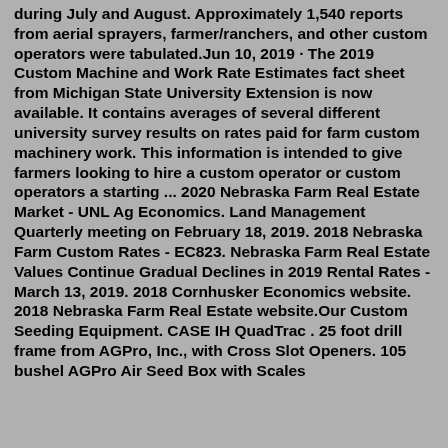during July and August. Approximately 1,540 reports from aerial sprayers, farmer/ranchers, and other custom operators were tabulated.Jun 10, 2019 · The 2019 Custom Machine and Work Rate Estimates fact sheet from Michigan State University Extension is now available. It contains averages of several different university survey results on rates paid for farm custom machinery work. This information is intended to give farmers looking to hire a custom operator or custom operators a starting ... 2020 Nebraska Farm Real Estate Market - UNL Ag Economics. Land Management Quarterly meeting on February 18, 2019. 2018 Nebraska Farm Custom Rates - EC823. Nebraska Farm Real Estate Values Continue Gradual Declines in 2019 Rental Rates - March 13, 2019. 2018 Cornhusker Economics website. 2018 Nebraska Farm Real Estate website.Our Custom Seeding Equipment. CASE IH QuadTrac . 25 foot drill frame from AGPro, Inc., with Cross Slot Openers. 105 bushel AGPro Air Seed Box with Scales (below) are the leading...